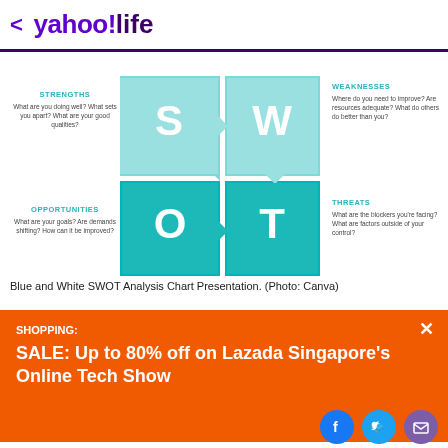< yahoo!life
[Figure (infographic): SWOT Analysis infographic with four quadrants (S, W, O, T) in teal/cyan colors. Left side shows STRENGTHS with description 'What are you doing well? What sets you apart? What are your good qualities?' and OPPORTUNITIES with 'What are your goals? Are demands shifting? How can it be improved?'. Right side shows WEAKNESSES with 'Where do you need to improve? Are resources adequate? What do others do better than you?' and THREATS with 'What are the blockers you're facing? What are factors outside of your control?']
Blue and White SWOT Analysis Chart Presentation. (Photo: Canva)
SHOPPING:
SALE: Up to 80% off on Lazada Singapore's Online Tech Show